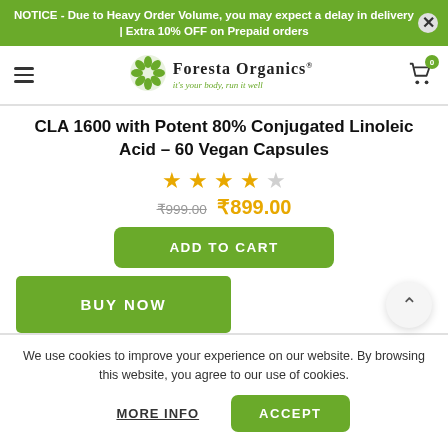NOTICE - Due to Heavy Order Volume, you may expect a delay in delivery | Extra 10% OFF on Prepaid orders
[Figure (logo): Foresta Organics logo with green leaf icon and tagline 'it's your body, run it well']
CLA 1600 with Potent 80% Conjugated Linoleic Acid – 60 Vegan Capsules
★★★★☆ (4 out of 5 stars)
₹999.00  ₹899.00
ADD TO CART
BUY NOW
We use cookies to improve your experience on our website. By browsing this website, you agree to our use of cookies.
MORE INFO   ACCEPT